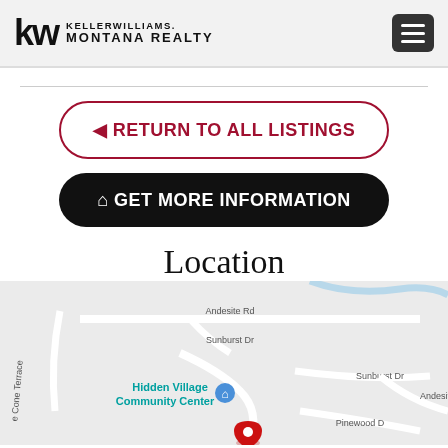Keller Williams Montana Realty
◄ RETURN TO ALL LISTINGS
🏠 GET MORE INFORMATION
Location
[Figure (map): Google Maps view showing Hidden Village Community Center area with roads including Andesite Rd, Sunburst Dr, Pine Cone Terrace, Pinewood Dr, and Andesite Rd. A red location pin is visible near the bottom center of the map.]